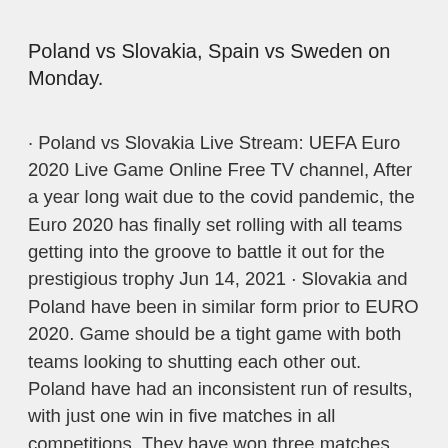Poland vs Slovakia, Spain vs Sweden on Monday.
· Poland vs Slovakia Live Stream: UEFA Euro 2020 Live Game Online Free TV channel, After a year long wait due to the covid pandemic, the Euro 2020 has finally set rolling with all teams getting into the groove to battle it out for the prestigious trophy Jun 14, 2021 · Slovakia and Poland have been in similar form prior to EURO 2020. Game should be a tight game with both teams looking to shutting each other out. Poland have had an inconsistent run of results, with just one win in five matches in all competitions. They have won three matches out of ten games in all compe Jun 14, 2021 · Check out the prediction of Poland vs. Slovakia in the upcoming Euro 2020 championship match. Get to know the statistics and who will be winning the game! 1 hour ago · The second match between Poland and Slovakia